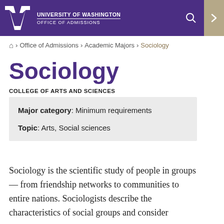[Figure (screenshot): University of Washington Office of Admissions header bar with UW logo (W), university name, office name, search icon, and navigation arrow on tan background]
Home > Office of Admissions > Academic Majors > Sociology
Sociology
COLLEGE OF ARTS AND SCIENCES
Major category: Minimum requirements
Topic: Arts, Social sciences
Sociology is the scientific study of people in groups — from friendship networks to communities to entire nations. Sociologists describe the characteristics of social groups and consider